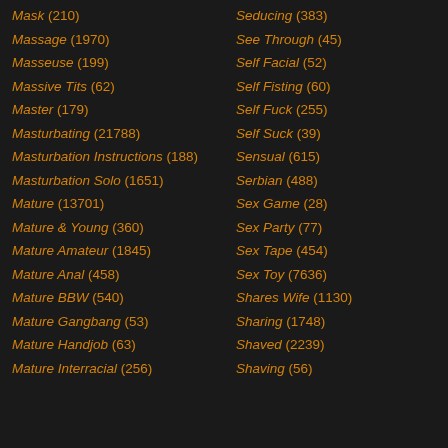Mask (210)
Massage (1970)
Masseuse (199)
Massive Tits (62)
Master (179)
Masturbating (21788)
Masturbation Instructions (188)
Masturbation Solo (1651)
Mature (13701)
Mature & Young (360)
Mature Amateur (1845)
Mature Anal (458)
Mature BBW (540)
Mature Gangbang (53)
Mature Handjob (63)
Mature Interracial (256)
Seducing (383)
See Through (45)
Self Facial (52)
Self Fisting (60)
Self Fuck (255)
Self Suck (39)
Sensual (615)
Serbian (488)
Sex Game (28)
Sex Party (77)
Sex Tape (454)
Sex Toy (7636)
Shares Wife (1130)
Sharing (1748)
Shaved (2239)
Shaving (56)